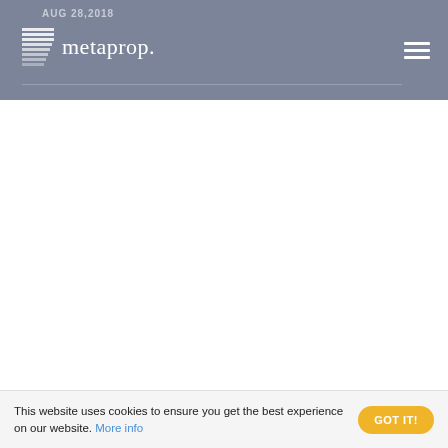AUG 28,2018  metaprop.
This website uses cookies to ensure you get the best experience on our website. More info
GOT IT!